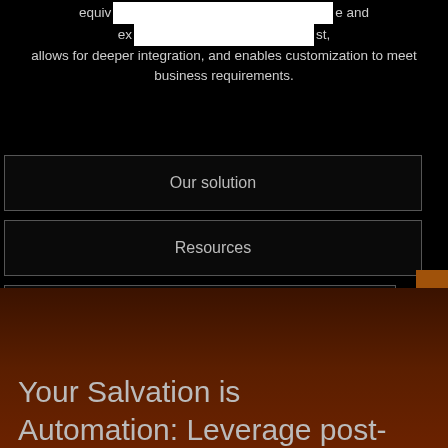equiv… e and ex…st, allows for deeper integration, and enables customization to meet business requirements.
Our solution
Resources
Register an interest
Contact Us
Your Salvation is Automation: Leverage post-